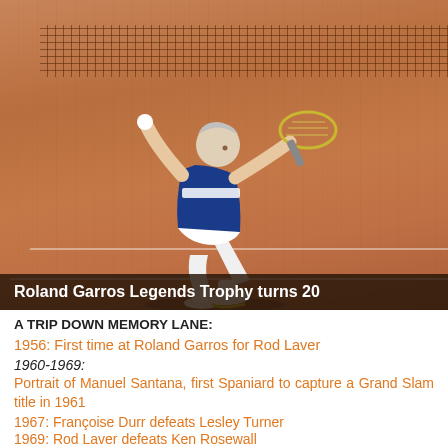[Figure (photo): Tennis player on a clay court kneeling and raising racket, with net in background. Caption bar: Roland Garros Legends Trophy turns 20]
Roland Garros Legends Trophy turns 20
A TRIP DOWN MEMORY LANE:
1956: First time at Roland Garros for Rod Laver
1960-1969:
Portrait of Manuel Santana, first Spaniard to capture a Grand Slam title in 1961
1967: Françoise Durr defeats Lesley Turner
1969: Rod Laver defeats Ken Rosewall